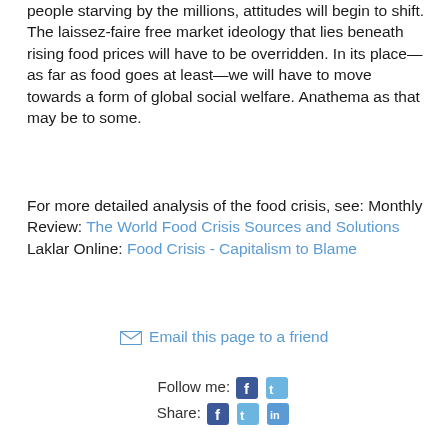people starving by the millions, attitudes will begin to shift. The laissez-faire free market ideology that lies beneath rising food prices will have to be overridden. In its place—as far as food goes at least—we will have to move towards a form of global social welfare. Anathema as that may be to some.
For more detailed analysis of the food crisis, see: Monthly Review: The World Food Crisis Sources and Solutions
Laklar Online: Food Crisis - Capitalism to Blame
✉ Email this page to a friend
Follow me: [Facebook icon] [Twitter icon]
Share: [Facebook icon] [Twitter icon] [LinkedIn icon]